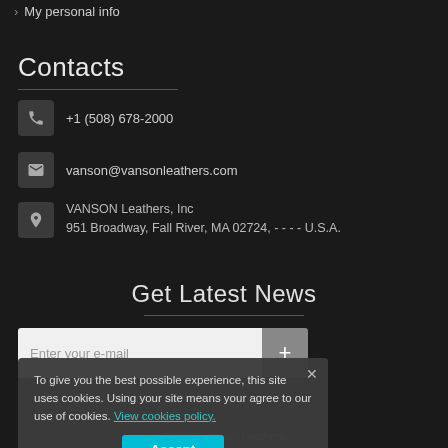My personal info
Contacts
+1 (508) 678-2000
vanson@vansonleathers.com
VANSON Leathers, Inc
951 Broadway, Fall River, MA 02724, - - - - U.S.A.
Get Latest News
Enter your e-mail
To give you the best possible experience, this site uses cookies. Using your site means your agree to our use of cookies. View cookies policy.
Accept
© 2022 Vanson Leathers